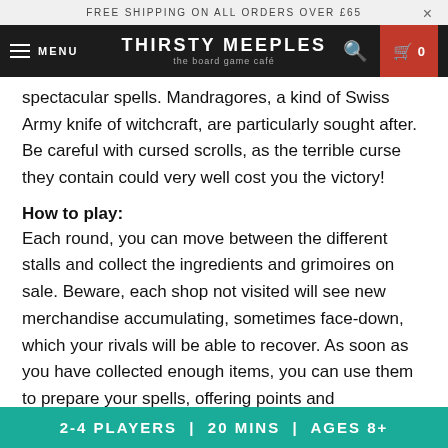FREE SHIPPING ON ALL ORDERS OVER £65
THIRSTY MEEPLES — the board game café — MENU
spectacular spells. Mandragores, a kind of Swiss Army knife of witchcraft, are particularly sought after. Be careful with cursed scrolls, as the terrible curse they contain could very well cost you the victory!
How to play:
Each round, you can move between the different stalls and collect the ingredients and grimoires on sale. Beware, each shop not visited will see new merchandise accumulating, sometimes face-down, which your rivals will be able to recover. As soon as you have collected enough items, you can use them to prepare your spells, offering points and spectacular effects!
2-4 PLAYERS | 20 MINS | AGES 8+